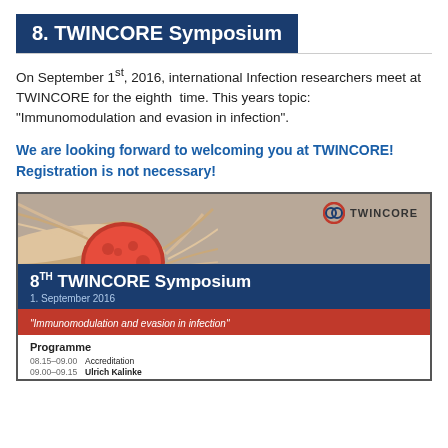8. TWINCORE Symposium
On September 1st, 2016, international Infection researchers meet at TWINCORE for the eighth time. This years topic: "Immunomodulation and evasion in infection".
We are looking forward to welcoming you at TWINCORE! Registration is not necessary!
[Figure (illustration): TWINCORE 8th Symposium promotional poster showing a red cell/parasite microscopy image on the left, TWINCORE logo top right, blue banner with '8TH TWINCORE Symposium 1. September 2016', red banner with 'Immunomodulation and evasion in infection', and a programme section below showing Accreditation, Ulrich Kalinke entries.]